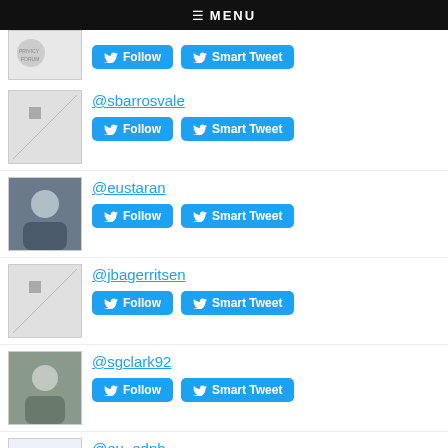≡ MENU
@sbarrosvale — Follow | Smart Tweet
@eustaran — Follow | Smart Tweet
@jbagerritsen — Follow | Smart Tweet
@sgclark92 — Follow | Smart Tweet
@eu_edpb — Follow | Smart Tweet
@w_wiewiorowski — Follow | Smart Tweet
@eu_edps — Follow | Smart Tweet